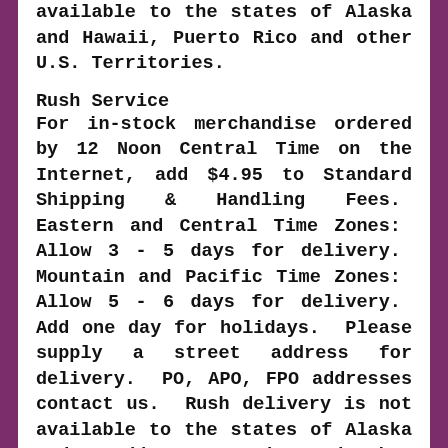available to the states of Alaska and Hawaii, Puerto Rico and other U.S. Territories.
Rush Service
For in-stock merchandise ordered by 12 Noon Central Time on the Internet, add $4.95 to Standard Shipping & Handling Fees.  Eastern and Central Time Zones:  Allow 3 - 5 days for delivery.  Mountain and Pacific Time Zones:  Allow 5 - 6 days for delivery.  Add one day for holidays.  Please supply a street address for delivery.  PO, APO, FPO addresses contact us.  Rush delivery is not available to the states of Alaska and Hawaii, Puerto Rico and other U.S. Territories.